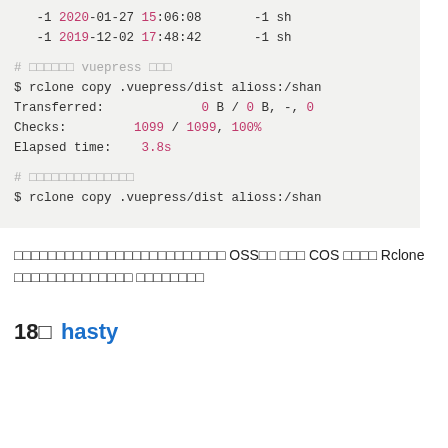[Figure (screenshot): Code block showing terminal output with dates, rclone commands, transfer stats, and comments. Lines include: '-1 2020-01-27 15:06:08 -1 sh', '-1 2019-12-02 17:48:42 -1 sh', '# □□□□□□ vuepress □□□', '$ rclone copy .vuepress/dist alioss:/shan', 'Transferred: 0 B / 0 B, -, 0', 'Checks: 1099 / 1099, 100%', 'Elapsed time: 3.8s', '# □□□□□□□□□□□□□□', '$ rclone copy .vuepress/dist alioss:/shan']
□□□□□□□□□□□□□□□□□□□□□□□□□ OSS□□ □□□ COS □□□□ Rclone □□□□□□□□□□□□□□ □□□□□□□□
18□ hasty